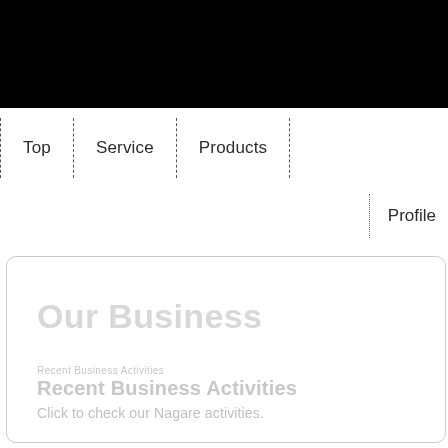[Figure (other): Black header bar spanning full width at the top of the page]
Top | Service | Products
Profile
Our Business
Recent Business Activities
Click to check our Nagare activities.